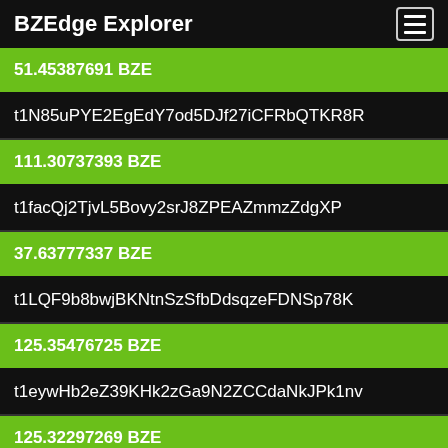BZEdge Explorer
51.45387691 BZE
t1N85uPYE2EgEdY7od5DJf27iCFRbQTKR8R
111.30737393 BZE
t1facQj2TjvL5Bovy2srJ8ZPEAZmmzZdgXP
37.63777337 BZE
t1LQF9b8bwjBKNtnSzSfbDdsqzeFDNSp78K
125.35476725 BZE
t1eywHb2eZ39KHk2zGa9N2ZCCdaNkJPk1nv
125.32297269 BZE
t1gdsJpdsWwzjsYQJXXhFhpw4NBdMB366Xu
60.54669932 BZE